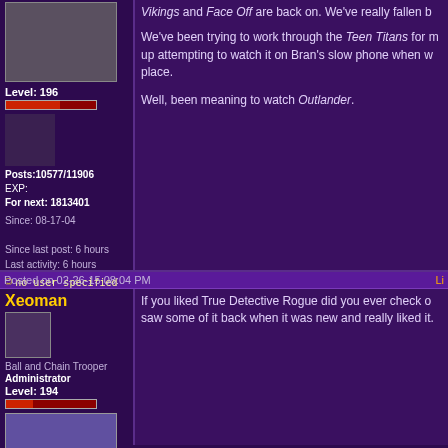Vikings and Face Off are back on. We've really fallen b...
We've been trying to work through the Teen Titans for m... up attempting to watch it on Bran's slow phone when w... place.
Well, been meaning to watch Outlander.
Level: 196
Posts:10577/11906
EXP:
For next: 1813401
Since: 08-17-04
Since last post: 6 hours
Last activity: 6 hours
no user specified
Xeoman
Posted on 02-26-15 08:04 PM
If you liked True Detective Rogue did you ever check o... saw some of it back when it was new and really liked it.
Ball and Chain Trooper
Administrator
Level: 194
Posts:10708/11746
EXP:103396715
For next:
Since: 08-14-04
From: 255
Since last post: 113 days
Last activity: 5 days